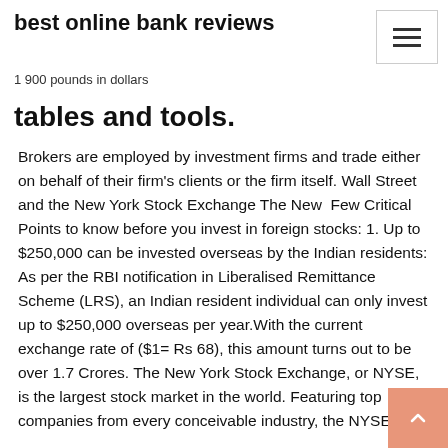best online bank reviews
1 900 pounds in dollars
tables and tools.
Brokers are employed by investment firms and trade either on behalf of their firm's clients or the firm itself. Wall Street and the New York Stock Exchange The New  Few Critical Points to know before you invest in foreign stocks: 1. Up to $250,000 can be invested overseas by the Indian residents: As per the RBI notification in Liberalised Remittance Scheme (LRS), an Indian resident individual can only invest up to $250,000 overseas per year.With the current exchange rate of ($1= Rs 68), this amount turns out to be over 1.7 Crores. The New York Stock Exchange, or NYSE, is the largest stock market in the world. Featuring top companies from every conceivable industry, the NYSE is home to the many traders who perform the actual transactions that allow investors to buy and sell shares of stock. Over a billion dollars pass through the NYSE annually, I want to invest and trade in the USA stock market from India, is it allowed? If yes,